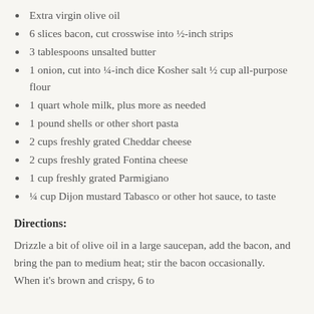Extra virgin olive oil
6 slices bacon, cut crosswise into ½-inch strips
3 tablespoons unsalted butter
1 onion, cut into ¼-inch dice Kosher salt ½ cup all-purpose flour
1 quart whole milk, plus more as needed
1 pound shells or other short pasta
2 cups freshly grated Cheddar cheese
2 cups freshly grated Fontina cheese
1 cup freshly grated Parmigiano
¼ cup Dijon mustard Tabasco or other hot sauce, to taste
Directions:
Drizzle a bit of olive oil in a large saucepan, add the bacon, and bring the pan to medium heat; stir the bacon occasionally. When it's brown and crispy, 6 to